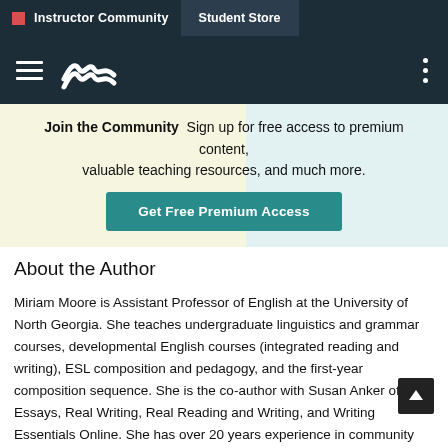Instructor Community  Student Store
[Figure (logo): Macmillan wave logo with hamburger menu and vertical dots menu on dark navy background]
Join the Community  Sign up for free access to premium content, valuable teaching resources, and much more.  Get Free Premium Access
About the Author
Miriam Moore is Assistant Professor of English at the University of North Georgia. She teaches undergraduate linguistics and grammar courses, developmental English courses (integrated reading and writing), ESL composition and pedagogy, and the first-year composition sequence. She is the co-author with Susan Anker of Real Essays, Real Writing, Real Reading and Writing, and Writing Essentials Online. She has over 20 years experience in community college teaching as well. Her interests include applied linguistics, writing about writing approaches to composition, professionalism for two-year college English faculty, and threshold concepts for composition, reading, and